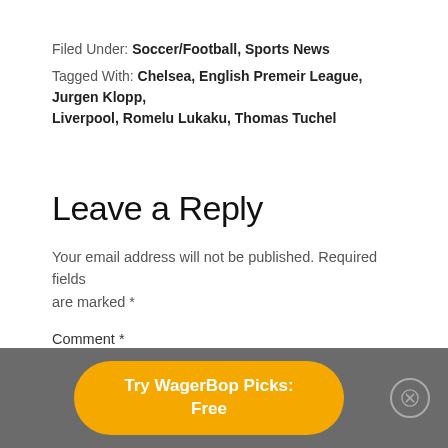Filed Under: Soccer/Football, Sports News
Tagged With: Chelsea, English Premeir League, Jurgen Klopp, Liverpool, Romelu Lukaku, Thomas Tuchel
Leave a Reply
Your email address will not be published. Required fields are marked *
Comment *
Try WagerBop Picks: Free